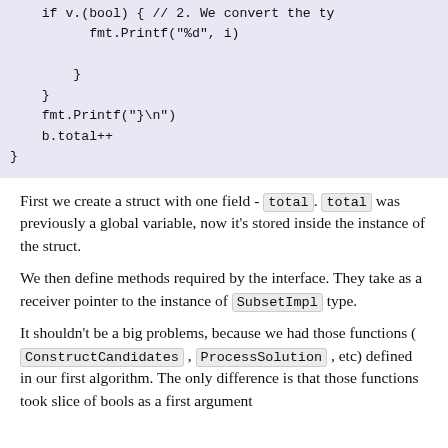[Figure (other): Code block showing Go code snippet with fmt.Printf and b.total++ statements]
First we create a struct with one field - total. total was previously a global variable, now it's stored inside the instance of the struct.
We then define methods required by the interface. They take as a receiver pointer to the instance of SubsetImpl type.
It shouldn't be a big problems, because we had those functions ( ConstructCandidates , ProcessSolution , etc) defined in our first algorithm. The only difference is that those functions took slice of bools as a first argument